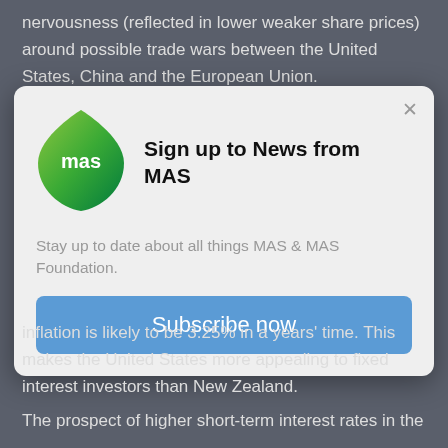nervousness (reflected in lower weaker share prices) around possible trade wars between the United States, China and the European Union.
[Figure (screenshot): MAS newsletter sign-up modal dialog with MAS logo (green shield with 'mas' text), title 'Sign up to News from MAS', subtitle 'Stay up to date about all things MAS & MAS Foundation.', and a blue 'Subscribe now' button. A close (×) button is in the top right corner.]
inflation is likely to be 3.25% in a years' time. This makes the United States more appealing to fixed interest investors than New Zealand.
The prospect of higher short-term interest rates in the